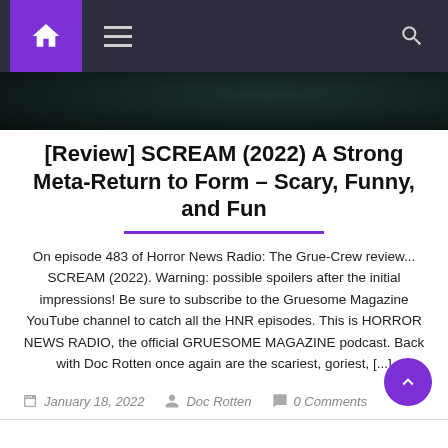Navigation bar with home, menu, and search icons
[Figure (photo): Dark hero image, partial view of a face or dark background]
[Review] SCREAM (2022) A Strong Meta-Return to Form – Scary, Funny, and Fun
On episode 483 of Horror News Radio: The Grue-Crew review... SCREAM (2022). Warning: possible spoilers after the initial impressions! Be sure to subscribe to the Gruesome Magazine YouTube channel to catch all the HNR episodes. This is HORROR NEWS RADIO, the official GRUESOME MAGAZINE podcast. Back with Doc Rotten once again are the scariest, goriest, [...]
January 18, 2022   Doc Rotten   0 Comments